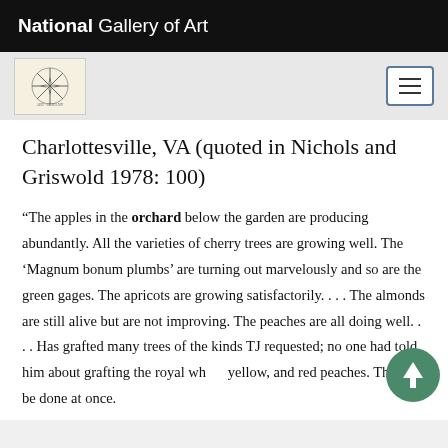National Gallery of Art
Charlottesville, VA (quoted in Nichols and Griswold 1978: 100)
“The apples in the orchard below the garden are producing abundantly. All the varieties of cherry trees are growing well. The ‘Magnum bonum plumbs’ are turning out marvelously and so are the green gages. The apricots are growing satisfactorily. . . . The almonds are still alive but are not improving. The peaches are all doing well. . . . Has grafted many trees of the kinds TJ requested; no one had told him about grafting the royal white, yellow, and red peaches. This will be done at once.